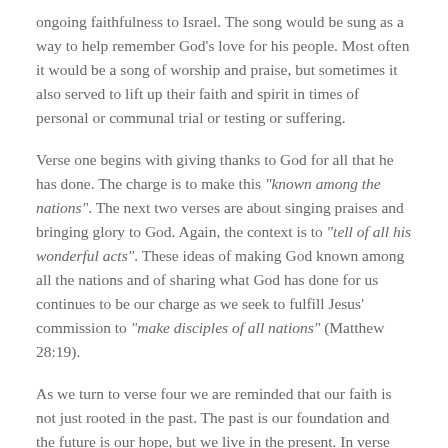ongoing faithfulness to Israel. The song would be sung as a way to help remember God's love for his people. Most often it would be a song of worship and praise, but sometimes it also served to lift up their faith and spirit in times of personal or communal trial or testing or suffering.
Verse one begins with giving thanks to God for all that he has done. The charge is to make this “known among the nations”. The next two verses are about singing praises and bringing glory to God. Again, the context is to “tell of all his wonderful acts”. These ideas of making God known among all the nations and of sharing what God has done for us continues to be our charge as we seek to fulfill Jesus’ commission to “make disciples of all nations” (Matthew 28:19).
As we turn to verse four we are reminded that our faith is not just rooted in the past. The past is our foundation and the future is our hope, but we live in the present. In verse